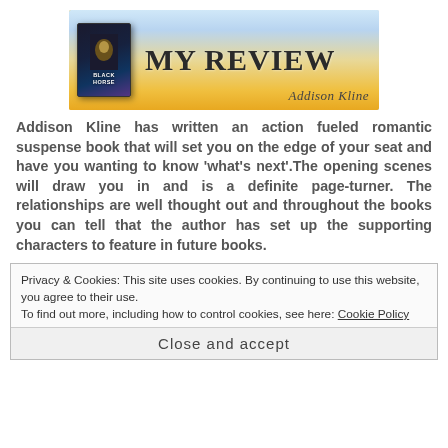[Figure (illustration): Book review banner with a book cover titled 'Black Horse', clouds and golden sky background, large text 'MY REVIEW', and a cursive signature 'Addison Kline']
Addison Kline has written an action fueled romantic suspense book that will set you on the edge of your seat and have you wanting to know 'what's next'.The opening scenes will draw you in and is a definite page-turner. The relationships are well thought out and throughout the books you can tell that the author has set up the supporting characters to feature in future books.
Privacy & Cookies: This site uses cookies. By continuing to use this website, you agree to their use.
To find out more, including how to control cookies, see here: Cookie Policy
Close and accept